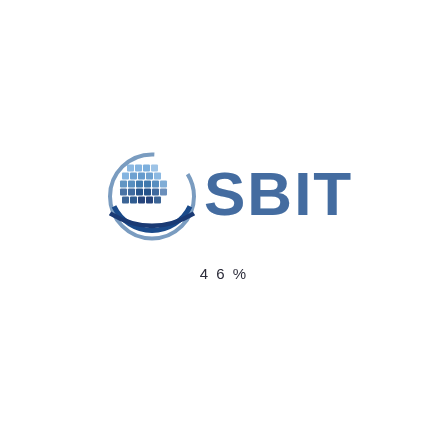[Figure (logo): SBITS company logo with circular globe/grid icon on the left and text 'SBITS' in blue/light-blue gradient lettering]
46%